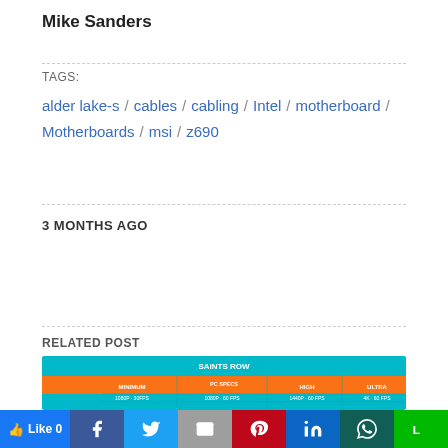Mike Sanders
TAGS:
alder lake-s / cables / cabling / Intel / motherboard / Motherboards / msi / z690
3 MONTHS AGO
RELATED POST
[Figure (screenshot): Saints Row PC Specs infographic showing MINIMUM, RECOMMENDED, HIGH, ULTRA columns with CPU, GPU, RAM specs on teal/orange background]
Like 0 | Facebook | Twitter | Gmail | Pinterest | LinkedIn | WhatsApp | Line